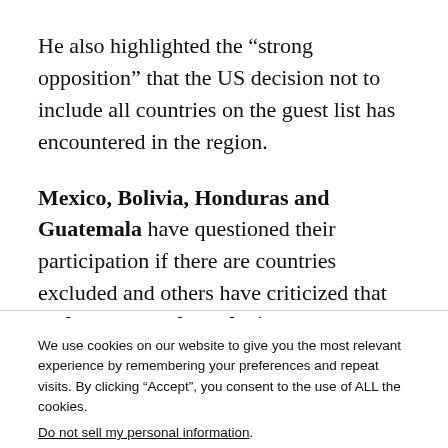He also highlighted the “strong opposition” that the US decision not to include all countries on the guest list has encountered in the region.
Mexico, Bolivia, Honduras and Guatemala have questioned their participation if there are countries excluded and others have criticized that Cuba, Venezuela and Nicaragua do not
We use cookies on our website to give you the most relevant experience by remembering your preferences and repeat visits. By clicking “Accept”, you consent to the use of ALL the cookies.
Do not sell my personal information.